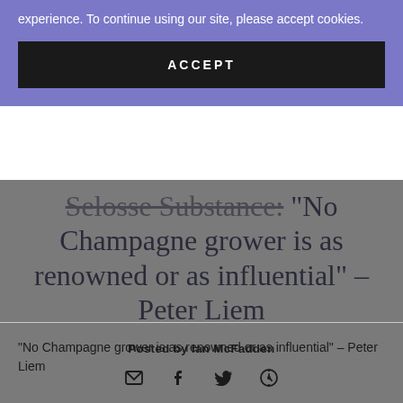experience. To continue using our site, please accept cookies.
ACCEPT
Selosse Substance: "No Champagne grower is as renowned or as influential" – Peter Liem
Posted by Ian McFadden
[Figure (other): Social sharing icons: email, facebook, twitter, pinterest]
"No Champagne grower is as renowned or as influential" – Peter Liem